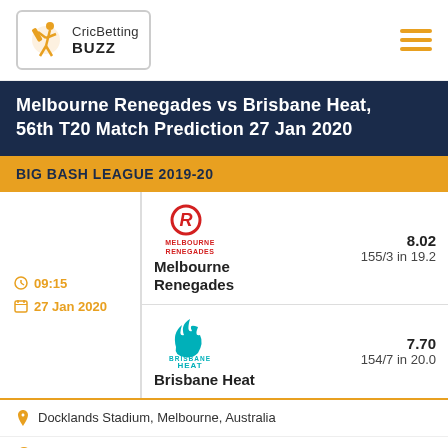CricBetting BUZZ
Melbourne Renegades vs Brisbane Heat, 56th T20 Match Prediction 27 Jan 2020
BIG BASH LEAGUE 2019-20
| Time/Date | Team | Odds | Score |
| --- | --- | --- | --- |
| 09:15 / 27 Jan 2020 | Melbourne Renegades | 8.02 | 155/3 in 19.2 |
| 09:15 / 27 Jan 2020 | Brisbane Heat | 7.70 | 154/7 in 20.0 |
Docklands Stadium, Melbourne, Australia
Best Winner: Brisbane Heat on the to...